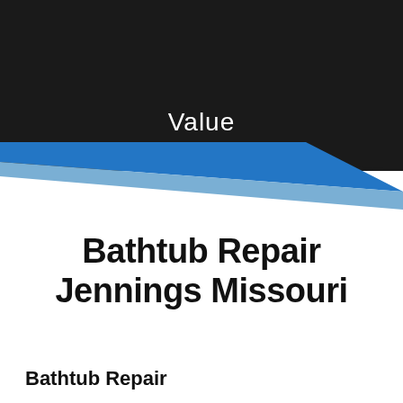Value
[Figure (illustration): Diagonal blue and light blue stripe design across dark header transitioning to white background]
Bathtub Repair Jennings Missouri
Bathtub Repair